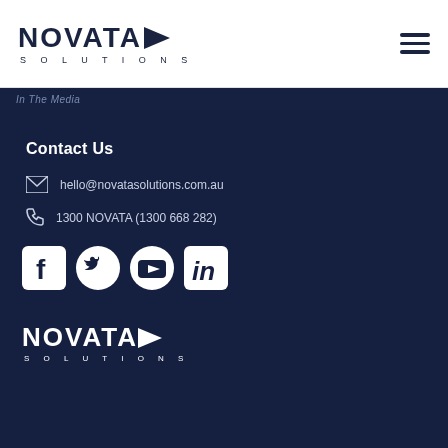[Figure (logo): Novata Solutions logo with dark chevron on white background, top header]
[Figure (other): Hamburger menu icon (three horizontal lines) in top right corner]
In The Media
Contact Us
hello@novatasolutions.com.au
1300 NOVATA (1300 668 282)
[Figure (other): Social media icons: Facebook, Twitter, YouTube, LinkedIn]
[Figure (logo): Novata Solutions logo in white on dark navy background, bottom of page]